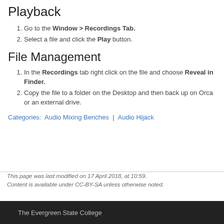Playback
Go to the Window > Recordings Tab.
Select a file and click the Play button.
File Management
In the Recordings tab right click on the file and choose Reveal in Finder.
Copy the file to a folder on the Desktop and then back up on Orca or an external drive.
Categories: Audio Mixing Benches | Audio Hijack
This page was last modified on 17 April 2018, at 10:59. Content is available under CC-BY-SA unless otherwise noted.
The Evergreen State College